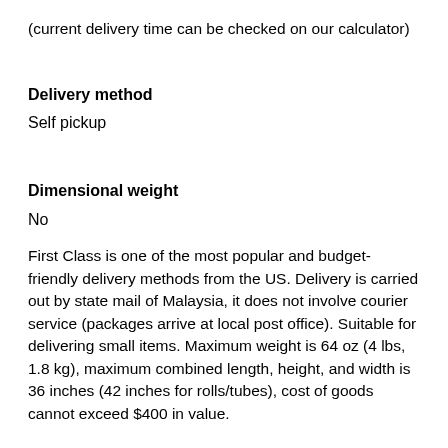(current delivery time can be checked on our calculator)
Delivery method
Self pickup
Dimensional weight
No
First Class is one of the most popular and budget-friendly delivery methods from the US. Delivery is carried out by state mail of Malaysia, it does not involve courier service (packages arrive at local post office). Suitable for delivering small items. Maximum weight is 64 oz (4 lbs, 1.8 kg), maximum combined length, height, and width is 36 inches (42 inches for rolls/tubes), cost of goods cannot exceed $400 in value.